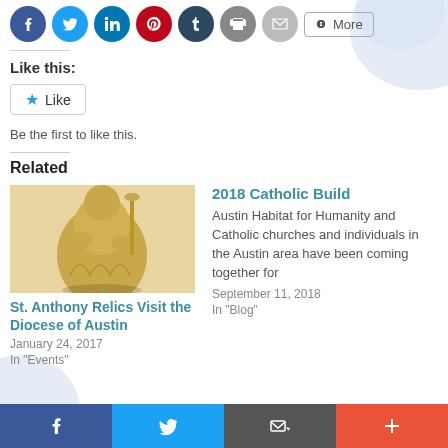[Figure (screenshot): Social share button icons row: Facebook (blue circle), Twitter (light blue circle), LinkedIn (dark blue circle), Pinterest (red circle), Tumblr (dark navy circle), Print (gray circle), Email (gray circle), and a More button with share icon]
Like this:
[Figure (screenshot): WordPress Like button widget with a blue star icon and the text 'Like']
Be the first to like this.
Related
[Figure (photo): Gold statue of St. Anthony holding a candelabra]
St. Anthony Relics Visit the Diocese of Austin
January 24, 2017
In "Events"
2018 Catholic Build
Austin Habitat for Humanity and Catholic churches and individuals in the Austin area have been coming together for
September 11, 2018
In "Blog"
[Figure (screenshot): Bottom floating social share toolbar with Facebook (blue), Twitter (light blue), Email/print (dark gray), and More (orange-red) buttons]